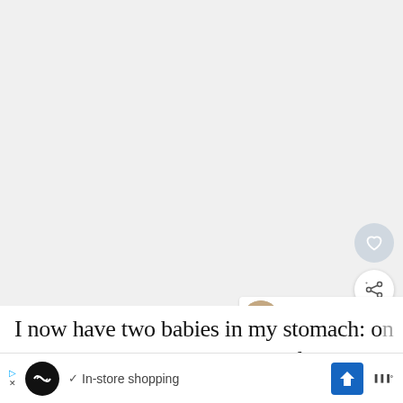[Figure (screenshot): Large blank/white-gray area representing a social media or web page background]
WHAT'S NEXT → Rest Is Best
I now have two babies in my stomach: one human and the other is made of shrimp and clams!
▷ ✓ In-store shopping